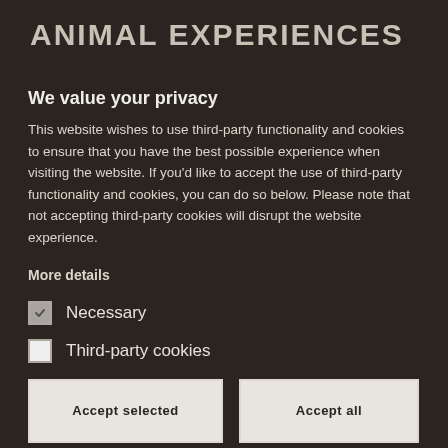ANIMAL EXPERIENCES
We value your privacy
This website wishes to use third-party functionality and cookies to ensure that you have the best possible experience when visiting the website. If you'd like to accept the use of third-party functionality and cookies, you can do so below. Please note that not accepting third-party cookies will disrupt the website experience.
More details
Necessary
Third-party cookies
Accept selected
Accept all